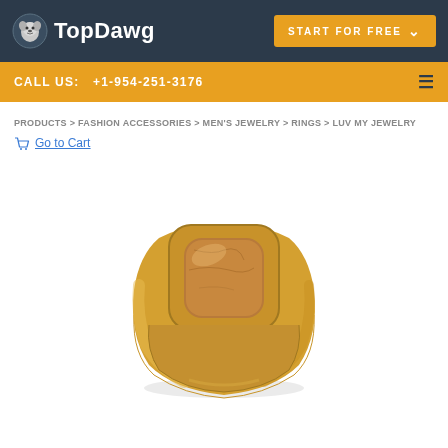TopDawg | START FOR FREE
CALL US: +1-954-251-3176
PRODUCTS > FASHION ACCESSORIES > MEN'S JEWELRY > RINGS > LUV MY JEWELRY
Go to Cart
[Figure (photo): A gold signet ring with a cushion-cut tan/brown stone set in the center, shown from a front-facing angle on a white background.]